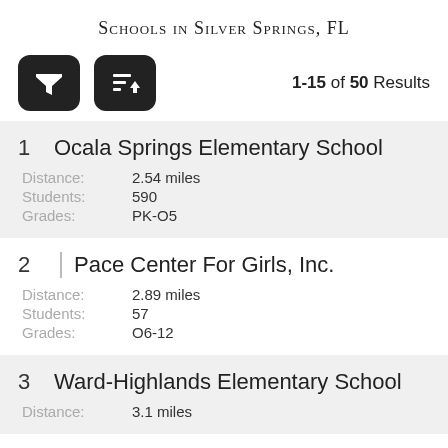Schools in Silver Springs, FL
1-15 of 50 Results
1  Ocala Springs Elementary School
Distance: 2.54 miles
Students: 590
Grades: PK-O5
2  Pace Center For Girls, Inc.
Distance: 2.89 miles
Students: 57
Grades: O6-12
3  Ward-Highlands Elementary School
Distance: 3.1 miles